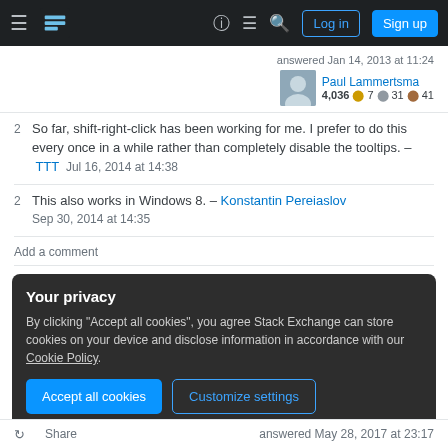Stack Exchange navigation bar with Log in and Sign up buttons
answered Jan 14, 2013 at 11:24
Paul Lammertsma 4,036 ●7 ●31 ●41
2 So far, shift-right-click has been working for me. I prefer to do this every once in a while rather than completely disable the tooltips. – TTT Jul 16, 2014 at 14:38
2 This also works in Windows 8. – Konstantin Pereiaslov Sep 30, 2014 at 14:35
Add a comment
Your privacy
By clicking "Accept all cookies", you agree Stack Exchange can store cookies on your device and disclose information in accordance with our Cookie Policy.
Accept all cookies
Customize settings
answered May 28, 2017 at 23:17